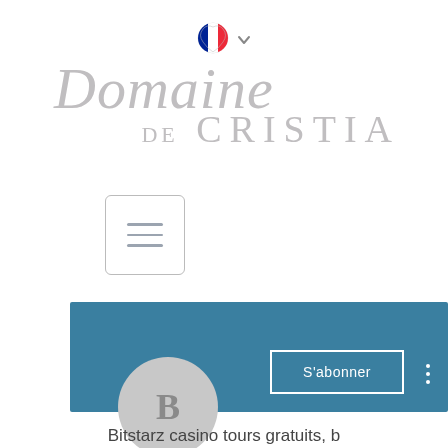[Figure (logo): French flag icon (circular, heart-shaped) with a small dropdown chevron, used as a language selector]
[Figure (logo): Domaine de Cristia logo in large silver/grey italic and serif typography]
[Figure (screenshot): Hamburger menu button — a square button with three horizontal lines]
[Figure (screenshot): Teal/blue banner section with a grey circular avatar button showing letter B, a S'abonner (Subscribe) button with white border, and a three-dot menu icon]
Bitstarz casino tours gratuits, b